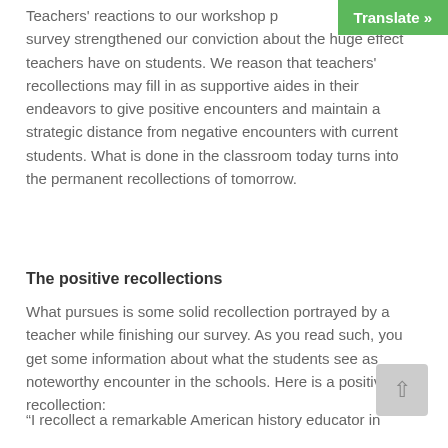Teachers' reactions to our workshop p... our survey strengthened our conviction about the huge effect teachers have on students. We reason that teachers' recollections may fill in as supportive aides in their endeavors to give positive encounters and maintain a strategic distance from negative encounters with current students. What is done in the classroom today turns into the permanent recollections of tomorrow.
The positive recollections
What pursues is some solid recollection portrayed by a teacher while finishing our survey. As you read such, you get some information about what the students see as noteworthy encounter in the schools. Here is a positive recollection:
“I recollect a remarkable American history educator in